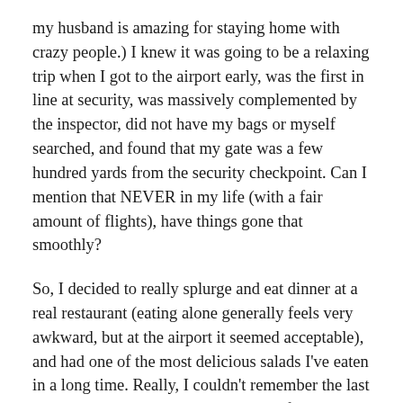my husband is amazing for staying home with crazy people.) I knew it was going to be a relaxing trip when I got to the airport early, was the first in line at security, was massively complemented by the inspector, did not have my bags or myself searched, and found that my gate was a few hundred yards from the security checkpoint. Can I mention that NEVER in my life (with a fair amount of flights), have things gone that smoothly?
So, I decided to really splurge and eat dinner at a real restaurant (eating alone generally feels very awkward, but at the airport it seemed acceptable), and had one of the most delicious salads I've eaten in a long time. Really, I couldn't remember the last time I'd eaten, so it was really quite refreshing. I also managed to catch up on some serious CMI and Charlotte Mason Poetry blog posts I hadn't had time for lately.
After dinner was over, I even had time to sit around